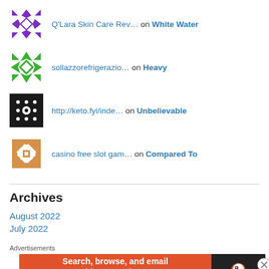Q'Lara Skin Care Rev… on White Water
sollazzorefrigerazio… on Heavy
http://keto.fyi/inde… on Unbelievable
casino free slot gam… on Compared To
Archives
August 2022
July 2022
Advertisements
[Figure (other): DuckDuckGo advertisement banner: Search, browse, and email with more privacy. All in One Free App]